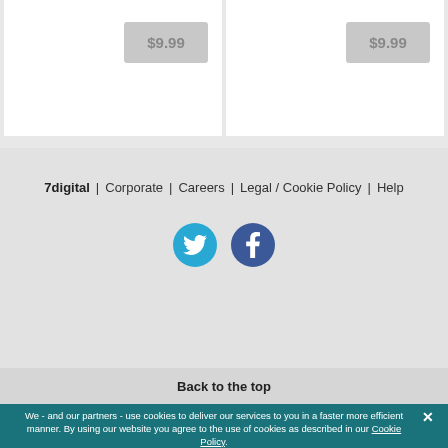[Figure (other): Product card with price badge showing $9.99 on left side]
[Figure (other): Product card with price badge showing $9.99 on right side]
7digital  Corporate  Careers  Legal / Cookie Policy  Help
[Figure (other): Twitter and Facebook social media icon circles]
Back to the top
We - and our partners - use cookies to deliver our services to you in a faster more efficient manner. By using our website you agree to the use of cookies as described in our Cookie Policy.